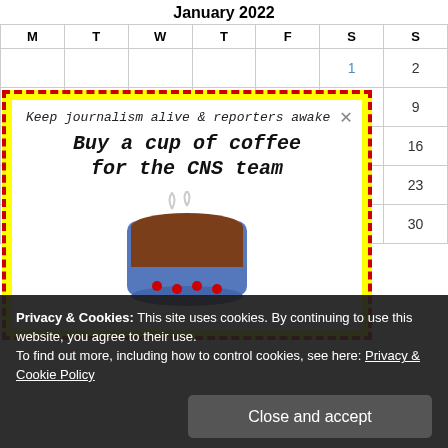January 2022
| M | T | W | T | F | S | S |
| --- | --- | --- | --- | --- | --- | --- |
|  |  |  |  |  | 1 | 2 |
| 3 | 4 | 5 | 6 | 7 | 8 | 9 |
| 10 | 11 | 12 | 13 | 14 | 15 | 16 |
|  |  |  |  |  | 22 | 23 |
|  |  |  |  |  | 29 | 30 |
[Figure (illustration): Advertisement popup with yellow dashed-red border and white inner box. Text reads: 'Keep journalism alive & reporters awake' then 'Buy a cup of coffee for the CNS team' with an illustration of a blue coffee cup with steam. Close button X in upper right.]
Privacy & Cookies: This site uses cookies. By continuing to use this website, you agree to their use.
To find out more, including how to control cookies, see here: Privacy & Cookie Policy